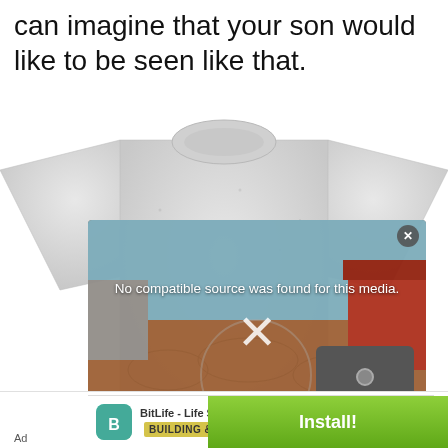can imagine that your son would like to be seen like that.
[Figure (photo): A light grey children's long-sleeve sweatshirt with a round neckline, laid flat. An overlay popup appears on top showing 'No compatible source was found for this media.' with a large X icon, background showing a game scene, a device in the bottom right, and a BitLife ad banner at the bottom with 'BUILDING & TESTING' label and green Install! button.]
Ad